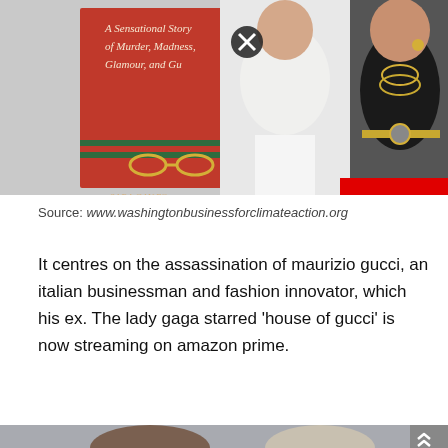[Figure (photo): Two people posing together — one in a white knit sweater holding a book with text 'A Sensational Story of Murder, Madness, Glamour, and G...' and 'SARA GAY FO...' visible on a red background with the Gucci horsebit motif; the other person is dressed in black with gold chain necklace. A red bar is visible at the lower right.]
Source: www.washingtonbusinessforclimateaction.org
It centres on the assassination of maurizio gucci, an italian businessman and fashion innovator, which his ex. The lady gaga starred 'house of gucci' is now streaming on amazon prime.
[Figure (photo): Two people photographed outdoors against a grey/snowy background — one with dark hair and glasses, the other with light/blonde hair. A close (X) button icon is overlaid in the centre. A grey scroll button with double up-chevron arrows is at the bottom right.]